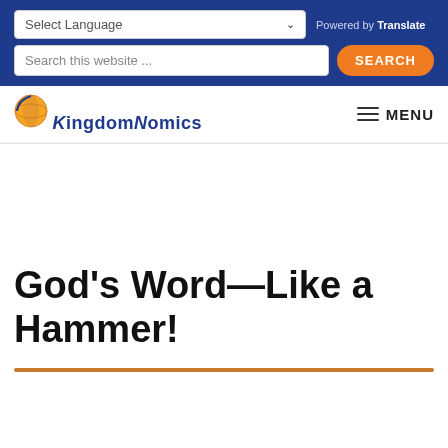Select Language | Powered by Translate | Search this website ... SEARCH
[Figure (logo): KingdomNomics logo with globe icon]
MENU
God's Word—Like a Hammer!